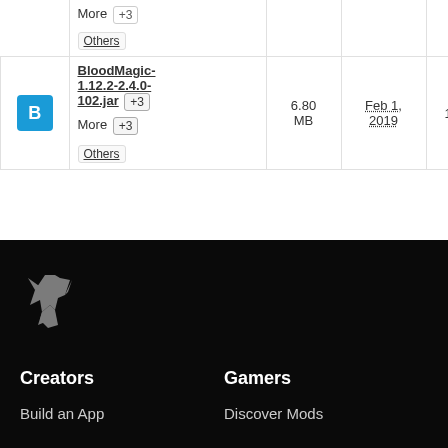|  | Name | Size | Date | Version | Compat. | Downloads |  |
| --- | --- | --- | --- | --- | --- | --- | --- |
|  | More  +3
Others |  |  |  |  |  |  |
| B | BloodMagic-1.12.2-2.4.0-102.jar  +3
More  +3
Others | 6.80 MB | Feb 1, 2019 | 1.12.2 | +2 | 3,827,834 | ⬇ |
[Figure (logo): CurseForge wolf logo in white on black background]
Creators
Gamers
Build an App
Discover Mods